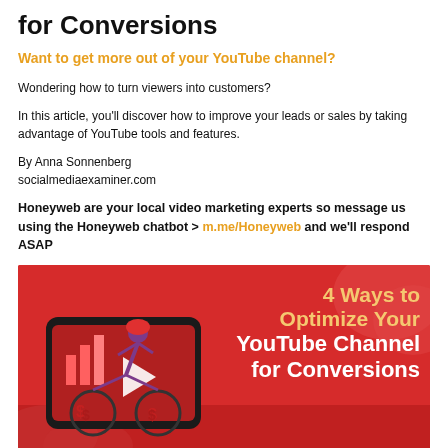for Conversions
Want to get more out of your YouTube channel?
Wondering how to turn viewers into customers?
In this article, you'll discover how to improve your leads or sales by taking advantage of YouTube tools and features.
By Anna Sonnenberg
socialmediaexaminer.com
Honeyweb are your local video marketing experts so message us using the Honeyweb chatbot > m.me/Honeyweb and we'll respond ASAP
[Figure (illustration): Red promotional graphic showing a person riding a bicycle emerging from a smartphone screen, with the text '4 Ways to Optimize Your YouTube Channel for Conversions' in yellow and white bold lettering on a red background.]